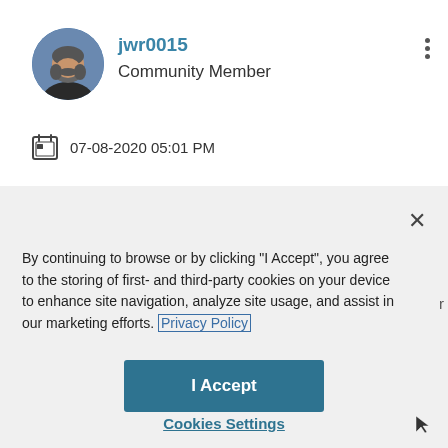jwr0015
Community Member
07-08-2020 05:01 PM
By continuing to browse or by clicking "I Accept", you agree to the storing of first- and third-party cookies on your device to enhance site navigation, analyze site usage, and assist in our marketing efforts. Privacy Policy
I Accept
Cookies Settings